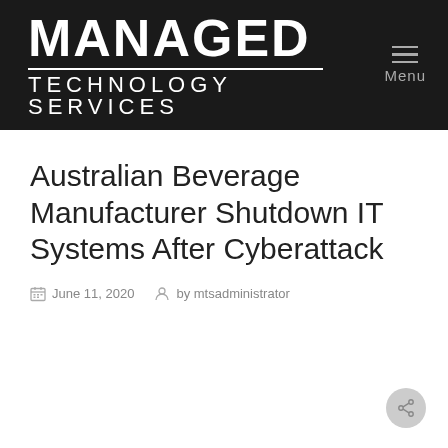MANAGED TECHNOLOGY SERVICES
Australian Beverage Manufacturer Shutdown IT Systems After Cyberattack
June 11, 2020  by mtsadministrator